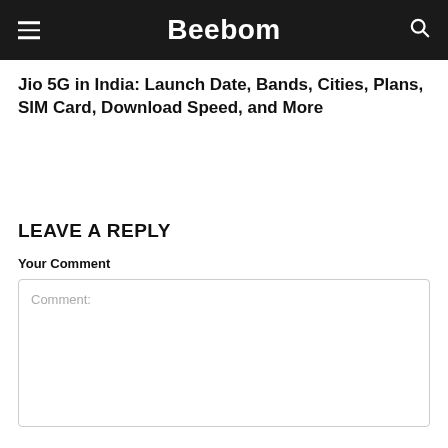Beebom
Jio 5G in India: Launch Date, Bands, Cities, Plans, SIM Card, Download Speed, and More
LEAVE A REPLY
Your Comment
Comment: